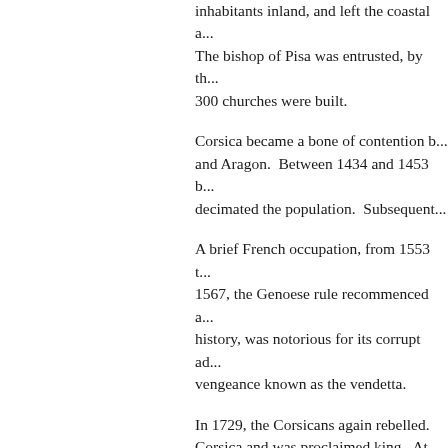During the period that Genoa was the ruler, it drove the inhabitants inland, and left the coastal areas unprotected. The bishop of Pisa was entrusted, by the Pope, and over 300 churches were built.
Corsica became a bone of contention between Genoa and Aragon. Between 1434 and 1453 bloody conflicts decimated the population. Subsequently...
A brief French occupation, from 1553 to 1567, the Genoese rule recommenced and throughout its history, was notorious for its corrupt administration and vengeance known as the vendetta.
In 1729, the Corsicans again rebelled. Corsica and was proclaimed king. At first... He fled late in 1736. Twice, in 1738, a... Imprisoned in London for debt, he secu...
In 1755, the Corsicans managed to esta... confined to only a few coastal towns, P... gave it a remarkably liberal constitution... great regenerative effort. He managed... even successful in building a Corsican...
The Genoese continued their limited co...